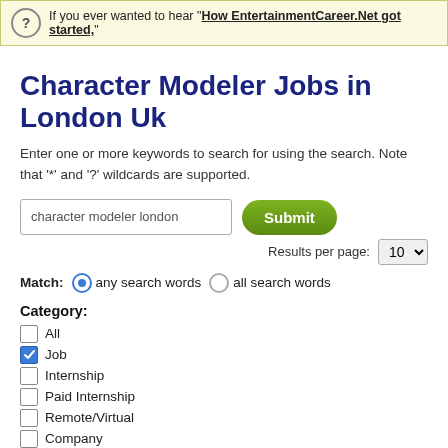If you ever wanted to hear "How EntertainmentCareer.Net got started,"
Character Modeler Jobs in London Uk
Enter one or more keywords to search for using the search. Note that '*' and '?' wildcards are supported.
Match: any search words  all search words
Category:
All
Job
Internship
Paid Internship
Remote/Virtual
Company
Support